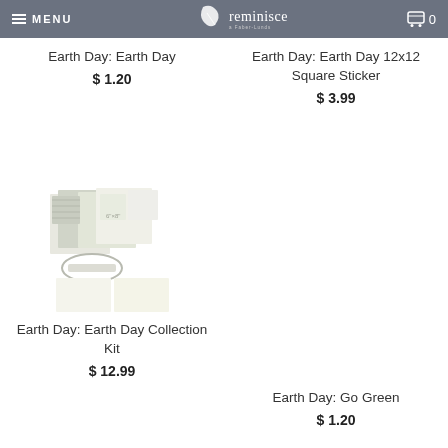MENU | reminisce | 0
Earth Day: Earth Day
$ 1.20
Earth Day: Earth Day 12x12 Square Sticker
$ 3.99
[Figure (photo): Earth Day Collection Kit product image showing scrapbook papers and sticker sheets with an oval label]
Earth Day: Earth Day Collection Kit
$ 12.99
Earth Day: Go Green
$ 1.20